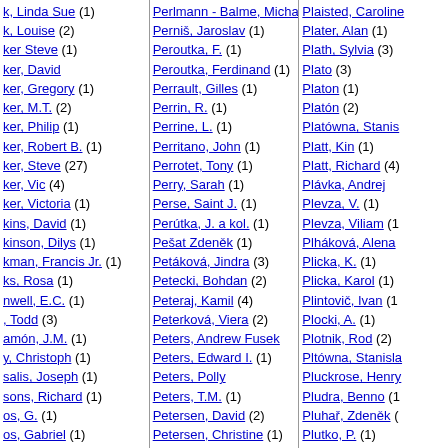k, Linda Sue (1)
k, Louise (2)
ker Steve (1)
ker, David
ker, Gregory (1)
ker, M.T. (2)
ker, Philip (1)
ker, Robert B. (1)
ker, Steve (27)
ker, Vic (4)
ker, Victoria (1)
kins, David (1)
kinson, Dilys (1)
kman, Francis Jr. (1)
ks, Rosa (1)
nwell, E.C. (1)
, Todd (3)
amón, J.M. (1)
y, Christoph (1)
salis, Joseph (1)
sons, Richard (1)
os, G. (1)
os, Gabriel (1)
zek, L. M. (1)
zková, I. (6)
zková, Ilona (1)
achoff, J.M. (1)
ternak, Boris (2)
tirčák, Daniel (1)
torková, Táňa (1)
Perlmann - Balme, Michaela (4)
Perniš, Jaroslav (1)
Peroutka, F. (1)
Peroutka, Ferdinand (1)
Perrault, Gilles (1)
Perrin, R. (1)
Perrine, L. (1)
Perritano, John (1)
Perrotet, Tony (1)
Perry, Sarah (1)
Perse, Saint J. (1)
Perútka, J. a kol. (1)
Pešat Zdeněk (1)
Petáková, Jindra (3)
Petecki, Bohdan (2)
Peteraj, Kamil (4)
Peterková, Viera (2)
Peters, Andrew Fusek
Peters, Edward I. (1)
Peters, Polly
Peters, T.M. (1)
Petersen, David (2)
Petersen, Christine (1)
Peterson , Mary (1)
Peterson John (1)
Peterson, Hans (1)
Peterson, John (1)
Peterson, Jordan B. (2)
Petherbridge, Caroline (1)
Pethes, F. (1)
Plaisted, Caroline
Plater, Alan (1)
Plath, Sylvia (3)
Plato (3)
Platon (1)
Platón (2)
Platówna, Stanis
Platt, Kin (1)
Platt, Richard (4)
Plávka, Andrej
Plevza, V. (1)
Plevza, Viliam (1)
Plháková, Alena
Plicka, K. (1)
Plicka, Karol (1)
Plintovič, Ivan (1)
Plocki, A. (1)
Plotnik, Rod (2)
Pltówna, Stanisla
Pluckrose, Henry
Pludra, Benno (1)
Pluhař, Zdeněk (
Plutko, P. (1)
Plzák, Miroslav (
Pocs, O. (1)
Počivalov, Leoni
Podgorski, Maryb
Podhradská, Má
Podhradský (1)
Podhradský, Já